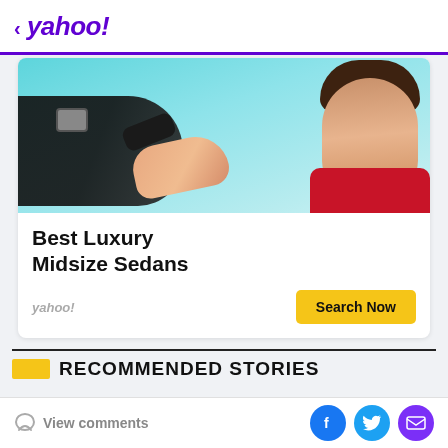< yahoo!
[Figure (photo): Person receiving car keys from dealer, smiling woman in red shirt with teal car interior in background]
Best Luxury Midsize Sedans
yahoo!
Search Now
RECOMMENDED STORIES
View comments